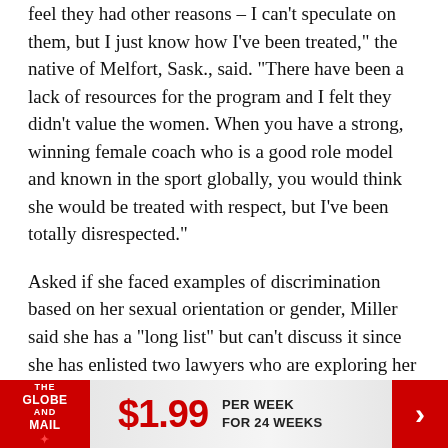feel they had other reasons – I can't speculate on them, but I just know how I've been treated," the native of Melfort, Sask., said. "There have been a lack of resources for the program and I felt they didn't value the women. When you have a strong, winning female coach who is a good role model and known in the sport globally, you would think she would be treated with respect, but I've been totally disrespected."
Asked if she faced examples of discrimination based on her sexual orientation or gender, Miller said she has a "long list" but can't discuss it since she has enlisted two lawyers who are exploring her options for building a case against the school.
[Figure (other): The Globe and Mail advertisement banner: logo on red background, $1.99 price in red, 'PER WEEK FOR 24 WEEKS' text, red arrow on right]